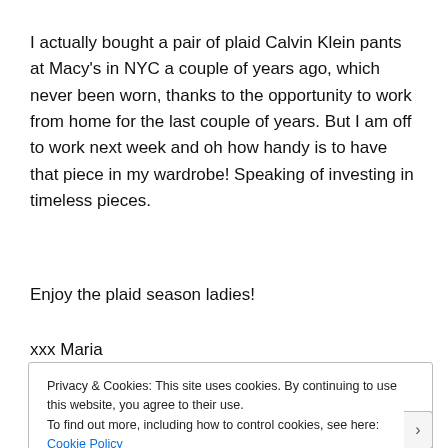I actually bought a pair of plaid Calvin Klein pants at Macy's in NYC a couple of years ago, which never been worn, thanks to the opportunity to work from home for the last couple of years. But I am off to work next week and oh how handy is to have that piece in my wardrobe! Speaking of investing in timeless pieces.
Enjoy the plaid season ladies!
xxx Maria
Privacy & Cookies: This site uses cookies. By continuing to use this website, you agree to their use.
To find out more, including how to control cookies, see here: Cookie Policy

Close and accept